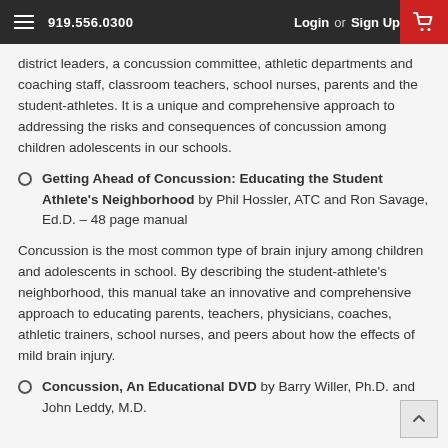919.556.0300  Login or Sign Up
district leaders, a concussion committee, athletic departments and coaching staff, classroom teachers, school nurses, parents and the student-athletes. It is a unique and comprehensive approach to addressing the risks and consequences of concussion among children adolescents in our schools.
Getting Ahead of Concussion: Educating the Student Athlete's Neighborhood by Phil Hossler, ATC and Ron Savage, Ed.D. – 48 page manual
Concussion is the most common type of brain injury among children and adolescents in school. By describing the student-athlete's neighborhood, this manual take an innovative and comprehensive approach to educating parents, teachers, physicians, coaches, athletic trainers, school nurses, and peers about how the effects of mild brain injury.
Concussion, An Educational DVD by Barry Willer, Ph.D. and John Leddy, M.D.